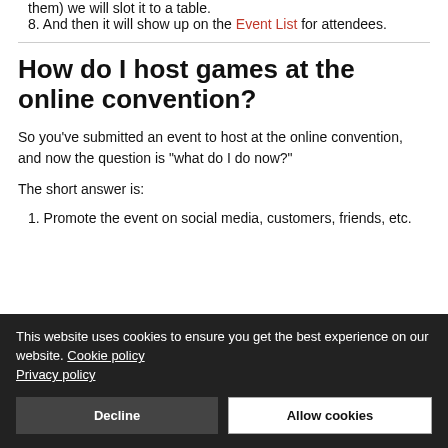8. And then it will show up on the Event List for attendees.
How do I host games at the online convention?
So you've submitted an event to host at the online convention, and now the question is "what do I do now?"
The short answer is:
1. Promote the event on social media, customers, friends, etc.
This website uses cookies to ensure you get the best experience on our website. Cookie policy Privacy policy
Decline | Allow cookies